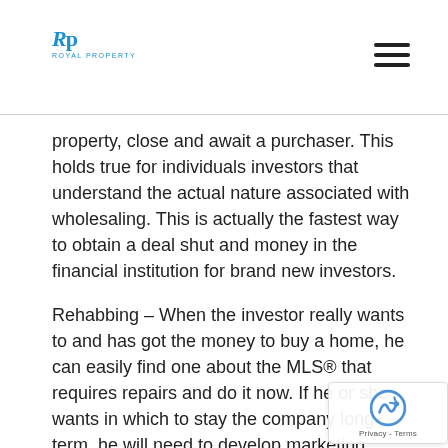Royal Property logo and navigation
property, close and await a purchaser. This holds true for individuals investors that understand the actual nature associated with wholesaling. This is actually the fastest way to obtain a deal shut and money in the financial institution for brand new investors.
Rehabbing – When the investor really wants to and has got the money to buy a home, he can easily find one about the MLS® that requires repairs and do it now. If he or she wants in which to stay the company long-term, he will need to develop marketing processes to find discounted prices – basically what wholesalers perform. His time period to create a completed deal will often be in the region of two – a few months and when the buyer associated with his rehab needs traditional financing. Some deals will require longer to